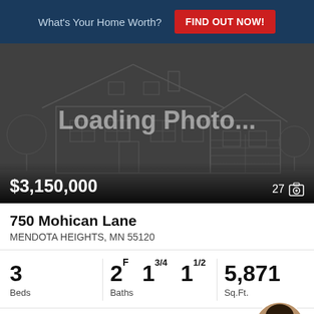What's Your Home Worth?
FIND OUT NOW!
[Figure (photo): Loading Photo... placeholder showing a wireframe outline of a house on dark background. Price: $3,150,000, photo count: 27]
750 Mohican Lane
MENDOTA HEIGHTS, MN 55120
3 Beds
2F 1 3/4 1 1/2 Baths
5,871 Sq.Ft.
Edina Realty, Inc.